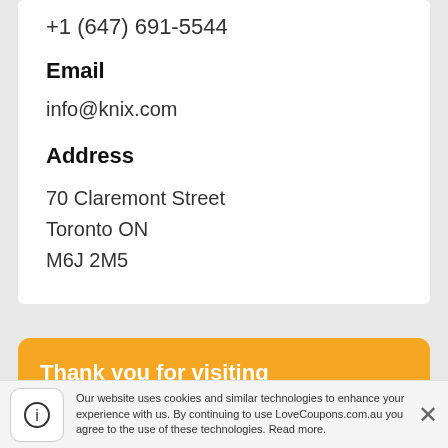+1 (647) 691-5544
Email
info@knix.com
Address
70 Claremont Street
Toronto ON
M6J 2M5
Thank you for visiting LoveCoupons.com.au
Our website uses cookies and similar technologies to enhance your experience with us. By continuing to use LoveCoupons.com.au you agree to the use of these technologies. Read more.